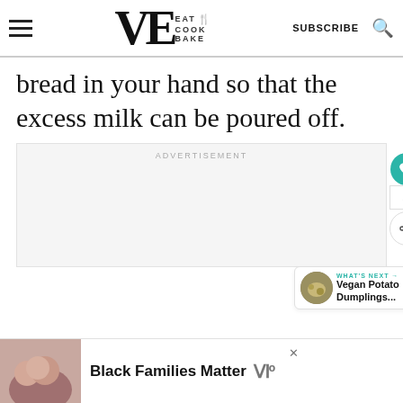VE EAT COOK BAKE | SUBSCRIBE
bread in your hand so that the excess milk can be poured off.
ADVERTISEMENT
WHAT'S NEXT → Vegan Potato Dumplings...
Black Families Matter